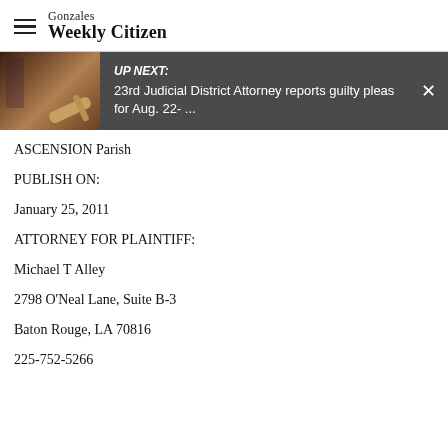Gonzales Weekly Citizen
[Figure (photo): Photo of a wooden gavel and law books with an American flag in the background]
UP NEXT: 23rd Judicial District Attorney reports guilty pleas for Aug. 22- ...
ASCENSION Parish
PUBLISH ON:
January 25, 2011
ATTORNEY FOR PLAINTIFF:
Michael T Alley
2798 O'Neal Lane, Suite B-3
Baton Rouge, LA 70816
225-752-5266